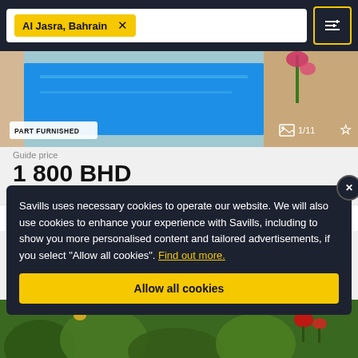Al Jasra, Bahrain
[Figure (photo): Property photo showing a blue swimming pool area with flowers in background, labeled PART FURNISHED, image counter 1/11]
Guide price
1 800 BHD
000...
6
Savills uses necessary cookies to operate our website. We will also use cookies to enhance your experience with Savills, including to show you more personalised content and tailored advertisements, if you select “Allow all cookies”. Find out more.
Allow all cookies
[Figure (photo): Green garden/plants photo at bottom of page]